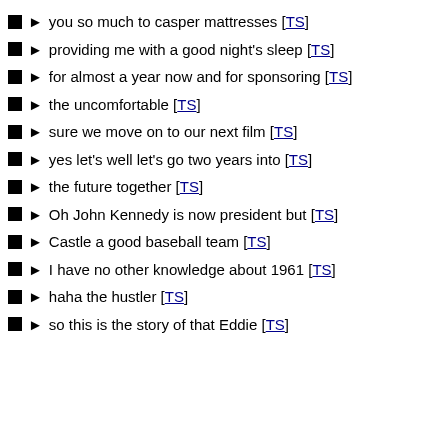you so much to casper mattresses [TS]
providing me with a good night's sleep [TS]
for almost a year now and for sponsoring [TS]
the uncomfortable [TS]
sure we move on to our next film [TS]
yes let's well let's go two years into [TS]
the future together [TS]
Oh John Kennedy is now president but [TS]
Castle a good baseball team [TS]
I have no other knowledge about 1961 [TS]
haha the hustler [TS]
so this is the story of that Eddie [TS]